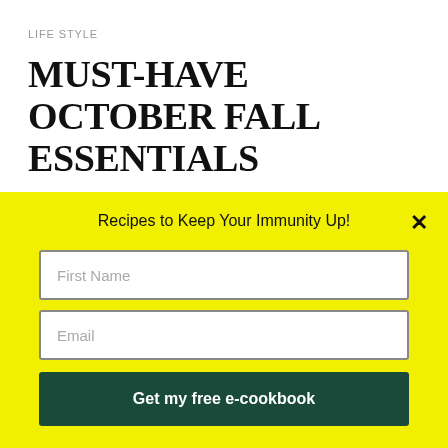LIFE STYLE
MUST-HAVE OCTOBER FALL ESSENTIALS
BY DR. LISA / 3 COMMENTS
This blog contains sponsored content and the following post
[Figure (screenshot): Popup modal with yellow background titled 'Recipes to Keep Your Immunity Up!' containing a First Name input field, an Email input field, and a dark green 'Get my free e-cookbook' button, with an X close button in the top right.]